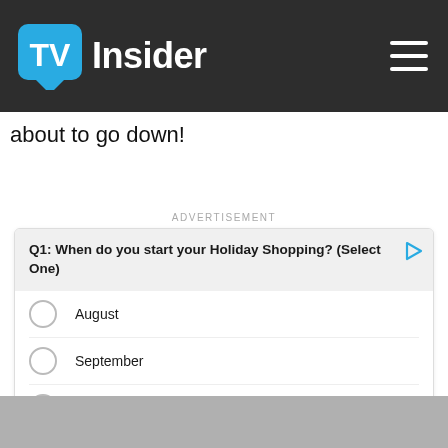TV Insider
about to go down!
ADVERTISEMENT
Q1: When do you start your Holiday Shopping? (Select One)
August
September
October
November
December
1 of 4
[Figure (other): Geometric hexagon tile pattern in grey tones at the bottom of the page]